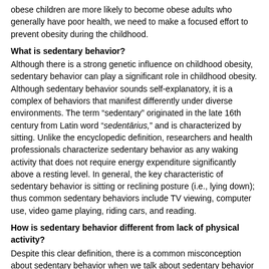obese children are more likely to become obese adults who generally have poor health, we need to make a focused effort to prevent obesity during the childhood.
What is sedentary behavior?
Although there is a strong genetic influence on childhood obesity, sedentary behavior can play a significant role in childhood obesity. Although sedentary behavior sounds self-explanatory, it is a complex of behaviors that manifest differently under diverse environments. The term “sedentary” originated in the late 16th century from Latin word “sedentārius,” and is characterized by sitting. Unlike the encyclopedic definition, researchers and health professionals characterize sedentary behavior as any waking activity that does not require energy expenditure significantly above a resting level. In general, the key characteristic of sedentary behavior is sitting or reclining posture (i.e., lying down); thus common sedentary behaviors include TV viewing, computer use, video game playing, riding cars, and reading.
How is sedentary behavior different from lack of physical activity?
Despite this clear definition, there is a common misconception about sedentary behavior when we talk about sedentary behavior and low physical activity in children. Authoritative public health organizations, the American Academy of Pediatrics and the Institute of Medicine, recommend children to engage in no more than 2 hours of sedentary behavior and at least 1 hour of moderate-to-vigorous intensity physical activity on a typical day.  However, consider an 8-year-old girl who is awake for 14 hours, and who sleeps 10 hours on a typical day.  Although this 8-year-old girl can meet the recommended level of physical activity by engaging in 1 – 1.5 hours of soccer practice every day, she could easily spend